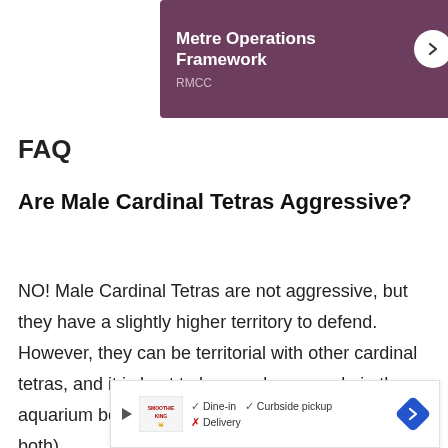[Figure (screenshot): Purple banner card with title 'Metre Operations Framework', subtitle 'RMCC', and a white circular arrow button on the right.]
FAQ
Are Male Cardinal Tetras Aggressive?
NO! Male Cardinal Tetras are not aggressive, but they have a slightly higher territory to defend. However, they can be territorial with other cardinal tetras, and it is best to keep only one male in the aquarium because two would fight until one dies (or both).
[Figure (screenshot): Advertisement banner for Smoothie King showing dine-in, curbside pickup, and delivery options with a blue navigation arrow icon.]